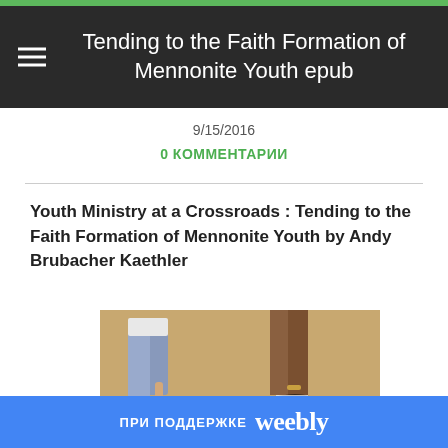Tending to the Faith Formation of Mennonite Youth epub
9/15/2016
0 КОММЕНТАРИИ
Youth Ministry at a Crossroads : Tending to the Faith Formation of Mennonite Youth by Andy Brubacher Kaethler
[Figure (photo): Book cover showing two people standing on a skateboard, cropped to show legs and feet in jeans and sneakers against a warm tan background]
ПРИ ПОДДЕРЖКЕ weebly